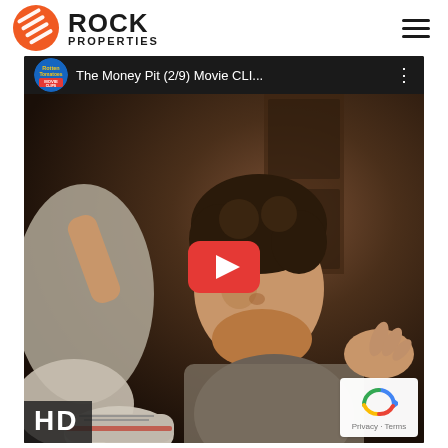[Figure (logo): Rock Properties logo with orange diamond icon and bold text 'ROCK PROPERTIES']
[Figure (screenshot): YouTube video embed showing 'The Money Pit (2/9) Movie CLI...' from Rotten Tomatoes Movie Clips channel. Thumbnail shows a man (Tom Hanks) falling through the stairs in a scene from the movie The Money Pit (1986), with an HD badge in the lower left and a YouTube play button in the center. A reCAPTCHA widget appears in the lower right corner.]